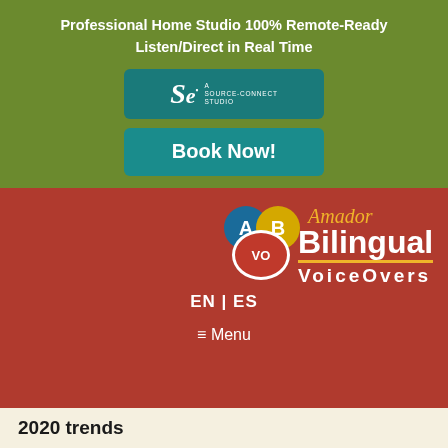Professional Home Studio 100% Remote-Ready
Listen/Direct in Real Time
[Figure (logo): Source-Connect Studio logo button - teal background with 'Se' italic letter and 'A SOURCE-CONNECT STUDIO' text]
Book Now!
[Figure (logo): Amador Bilingual VoiceOvers logo - speech bubble icons with A, B, VO labels, 'Amador' in gold italic script above 'Bilingual' in white bold, underline bar, 'VoiceOvers' in white spaced letters]
EN | ES
≡ Menu
2020 trends